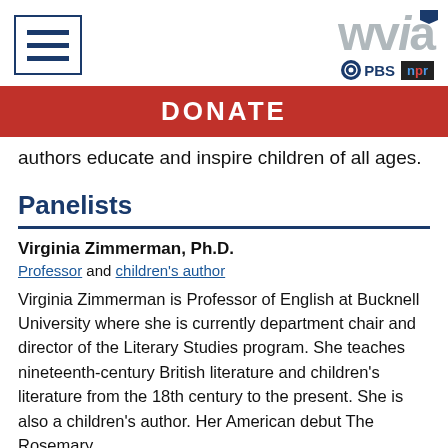[Figure (logo): WVIA logo with hamburger menu icon, PBS and NPR badges]
DONATE
authors educate and inspire children of all ages.
Panelists
Virginia Zimmerman, Ph.D.
Professor and children's author
Virginia Zimmerman is Professor of English at Bucknell University where she is currently department chair and director of the Literary Studies program. She teaches nineteenth-century British literature and children's literature from the 18th century to the present. She is also a children's author. Her American debut The Rosemary